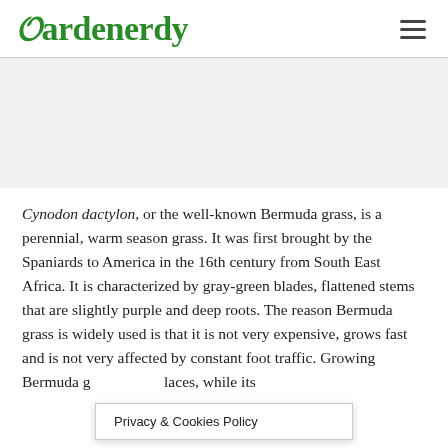Gardenerdy
Cynodon dactylon, or the well-known Bermuda grass, is a perennial, warm season grass. It was first brought by the Spaniards to America in the 16th century from South East Africa. It is characterized by gray-green blades, flattened stems that are slightly purple and deep roots. The reason Bermuda grass is widely used is that it is not very expensive, grows fast and is not very affected by constant foot traffic. Growing Bermuda g... laces, while its
Privacy & Cookies Policy